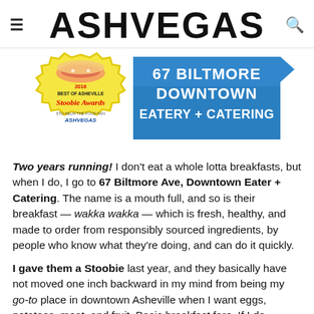ASHVEGAS
[Figure (illustration): 2016 Stoobie Awards badge (Best of Asheville, Stu Helm The Food Fan, AshVegas) on the left, and a blue ribbon banner reading '67 Biltmore Downtown Eatery + Catering' on the right.]
Two years running! I don't eat a whole lotta breakfasts, but when I do, I go to 67 Biltmore Ave, Downtown Eater + Catering. The name is a mouth full, and so is their breakfast — wakka wakka — which is fresh, healthy, and made to order from responsibly sourced ingredients, by people who know what they're doing, and can do it quickly.
I gave them a Stoobie last year, and they basically have not moved one inch backward in my mind from being my go-to place in downtown Asheville when I want eggs, potatoes, meat, and fruit. Basic breakfast fare. If I do